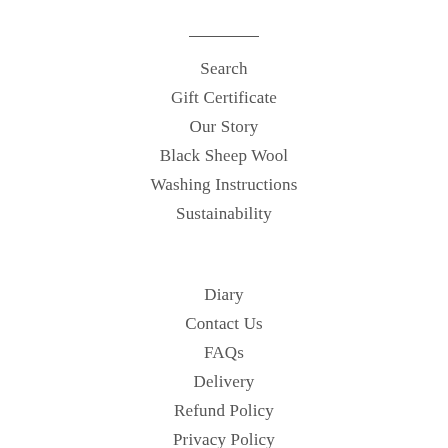Search
Gift Certificate
Our Story
Black Sheep Wool
Washing Instructions
Sustainability
Diary
Contact Us
FAQs
Delivery
Refund Policy
Privacy Policy